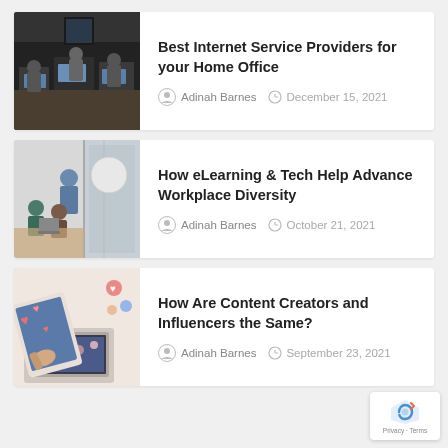[Figure (photo): People working around a conference table with laptops in an office setting]
Best Internet Service Providers for your Home Office
Adinah Barnes  December 15, 2021
[Figure (photo): A man presenting to colleagues at a whiteboard in a modern office with glass walls]
How eLearning & Tech Help Advance Workplace Diversity
Adinah Barnes  October 21, 2021
[Figure (photo): Hands using a tablet and laptop with social media hearts and icons displayed on screens]
How Are Content Creators and Influencers the Same?
Adinah Barnes  September 23, 2021